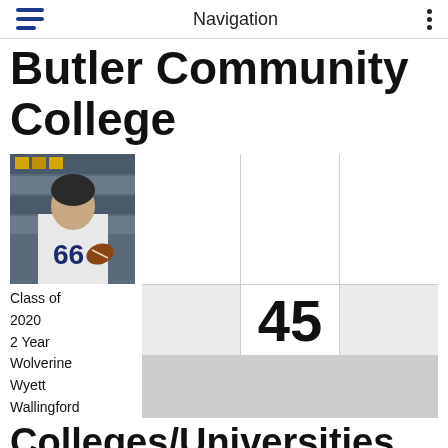Navigation
Butler Community College
[Figure (photo): Football player wearing jersey number 66 in white and gold uniform, holding a football, standing in front of shelves with sports equipment]
Class of 2020
2 Year
Wolverine
Wyett Wallingford
45
Colleges/Universities (76 Players)